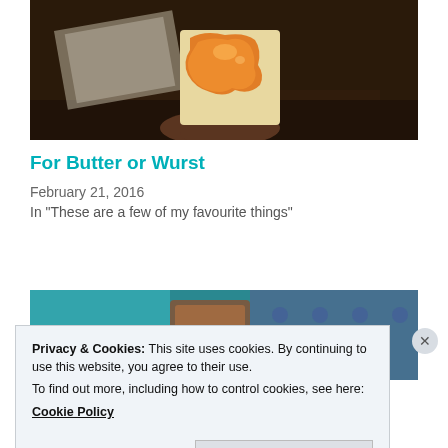[Figure (photo): Hands holding a piece of toast with orange jam/marmalade on top, over an open book, on a dark wooden surface]
For Butter or Wurst
February 21, 2016
In "These are a few of my favourite things"
[Figure (photo): Close-up of teal/turquoise colored background with what appears to be a patterned fabric or object]
Privacy & Cookies: This site uses cookies. By continuing to use this website, you agree to their use.
To find out more, including how to control cookies, see here: Cookie Policy
Close and accept